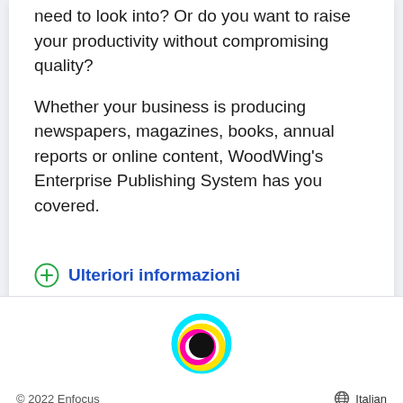need to look into? Or do you want to raise your productivity without compromising quality?
Whether your business is producing newspapers, magazines, books, annual reports or online content, WoodWing's Enterprise Publishing System has you covered.
Ulteriori informazioni
[Figure (logo): Enfocus colorful circular logo with cyan, yellow, magenta and black rings]
© 2022 Enfocus    Italian